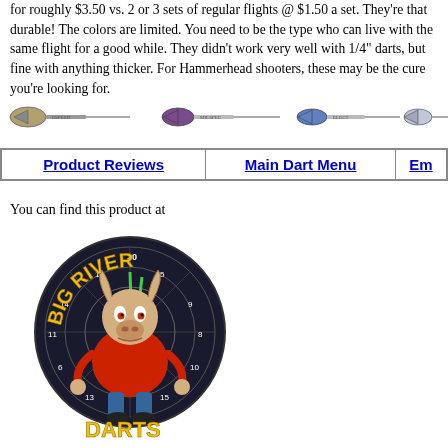for roughly $3.50 vs. 2 or 3 sets of regular flights @ $1.50 a set. They're that durable! The colors are limited. You need to be the type who can live with the same flight for a good while. They didn't work very well with 1/4" darts, but fine with anything thicker. For Hammerhead shooters, these may be the cure you're looking for.
[Figure (illustration): A row of five darts shown horizontally, each with different flight styles and barrel designs.]
| Product Reviews | Main Dart Menu | Em |
| --- | --- | --- |
You can find this product at
[Figure (logo): Big River Darts logo - cartoon bull character in front of a dartboard with 'Big River Darts' text in yellow]